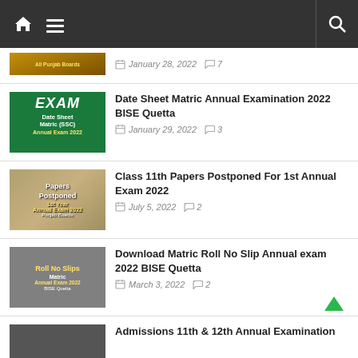Navigation bar with home, menu, and search icons
January 28, 2022 · 7 comments (partial article, top cut off)
Date Sheet Matric Annual Examination 2022 BISE Quetta — January 29, 2022 · 3 comments
Class 11th Papers Postponed For 1st Annual Exam 2022 — July 5, 2022 · 2 comments
Download Matric Roll No Slip Annual exam 2022 BISE Quetta — March 3, 2022 · 2 comments
Admissions 11th & 12th Annual Examination (partial, cut off at bottom)